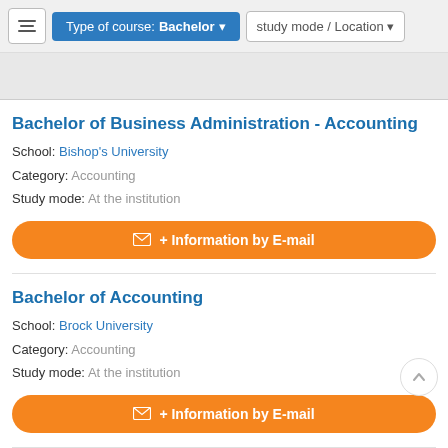Type of course: Bachelor | study mode / Location
Bachelor of Business Administration - Accounting
School: Bishop's University
Category: Accounting
Study mode: At the institution
+ Information by E-mail
Bachelor of Accounting
School: Brock University
Category: Accounting
Study mode: At the institution
+ Information by E-mail
Bachelor of Accounting Co-operative